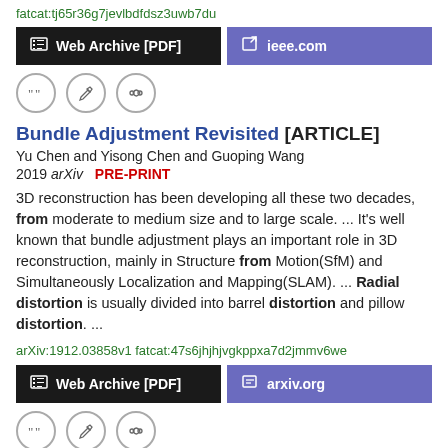fatcat:tj65r36g7jevlbdfdsz3uwb7du
[Figure (screenshot): Two buttons: 'Web Archive [PDF]' (black) and 'ieee.com' (purple), followed by three icon buttons (quote, edit, link)]
Bundle Adjustment Revisited [ARTICLE]
Yu Chen and Yisong Chen and Guoping Wang
2019 arXiv  PRE-PRINT
3D reconstruction has been developing all these two decades, from moderate to medium size and to large scale.  ...  It's well known that bundle adjustment plays an important role in 3D reconstruction, mainly in Structure from Motion(SfM) and Simultaneously Localization and Mapping(SLAM).  ...  Radial distortion is usually divided into barrel distortion and pillow distortion.  ...
arXiv:1912.03858v1  fatcat:47s6jhjhjvgkppxa7d2jmmv6we
[Figure (screenshot): Two buttons: 'Web Archive [PDF]' (black) and 'arxiv.org' (purple), followed by three icon buttons (quote, edit, link)]
Impact of Soft Tissue Heterogeneity on Augmented